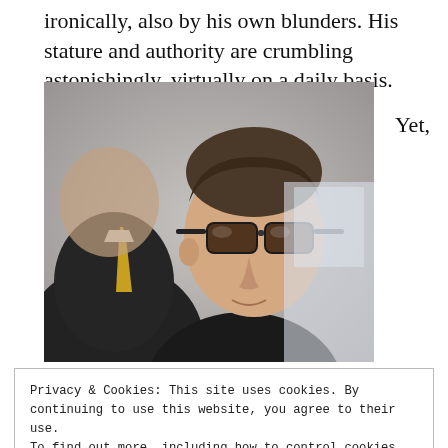ironically, also by his own blunders. His stature and authority are crumbling astonishingly, virtually on a daily basis.
[Figure (photo): Two men in suits, one with a yellow tie partially visible on the left, and a man wearing sunglasses in the center-right, photographed from a low angle outdoors.]
Yet,
Privacy & Cookies: This site uses cookies. By continuing to use this website, you agree to their use.
To find out more, including how to control cookies, see here: Cookie Policy
Close and accept
before b…